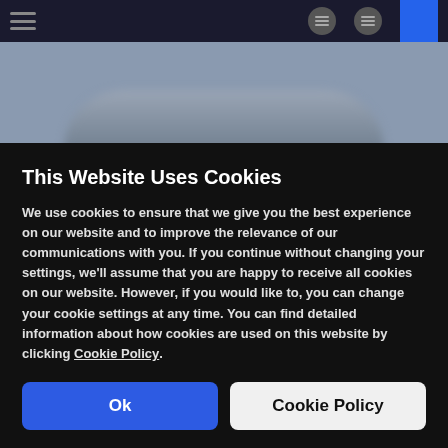[Figure (screenshot): Blurred screenshot of a website with a dark navigation bar at the top containing a hamburger menu icon on the left and icon buttons on the right with a blue accent box. Below is a blurred gray background showing a blurred vehicle image.]
This Website Uses Cookies
We use cookies to ensure that we give you the best experience on our website and to improve the relevance of our communications with you. If you continue without changing your settings, we'll assume that you are happy to receive all cookies on our website. However, if you would like to, you can change your cookie settings at any time. You can find detailed information about how cookies are used on this website by clicking Cookie Policy.
Ok
Cookie Policy